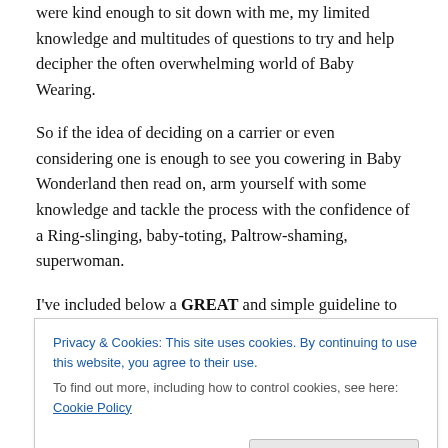were kind enough to sit down with me, my limited knowledge and multitudes of questions to try and help decipher the often overwhelming world of Baby Wearing.
So if the idea of deciding on a carrier or even considering one is enough to see you cowering in Baby Wonderland then read on, arm yourself with some knowledge and tackle the process with the confidence of a Ring-slinging, baby-toting, Paltrow-shaming, superwoman.
I've included below a GREAT and simple guideline to lay a nice foundation for your baby-wearing expertise that can
Privacy & Cookies: This site uses cookies. By continuing to use this website, you agree to their use.
To find out more, including how to control cookies, see here: Cookie Policy
Close and accept
close enough to kiss him incidentally people give you a